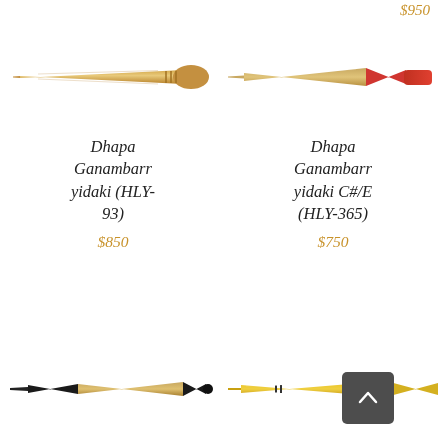$950
[Figure (photo): Light bamboo-colored didgeridoo stick, horizontal, tapered on left end]
[Figure (photo): Red-tipped didgeridoo with red and natural coloring, horizontal]
Dhapa Ganambarr yidaki (HLY-93)
$850
Dhapa Ganambarr yidaki C#/E (HLY-365)
$750
[Figure (photo): Black-tipped didgeridoo, horizontal, natural wood with black painted end]
[Figure (photo): Yellow-painted didgeridoo, horizontal, with black accents, partially obscured by back-to-top button]